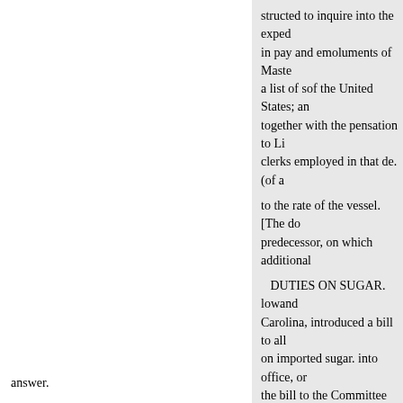structed to inquire into the exped in pay and emoluments of Maste a list of sof the United States; an together with the pensation to Li clerks employed in that de. (of a
to the rate of the vessel. [The do predecessor, on which additional
DUTIES ON SUGAR. lowand Carolina, introduced a bill to all on imported sugar. into office, or the bill to the Committee copies motion was rejected-yeas 16, nay the labor required for the investi case, on more than seventeen hu
SENATE.]
Duty on
answer.